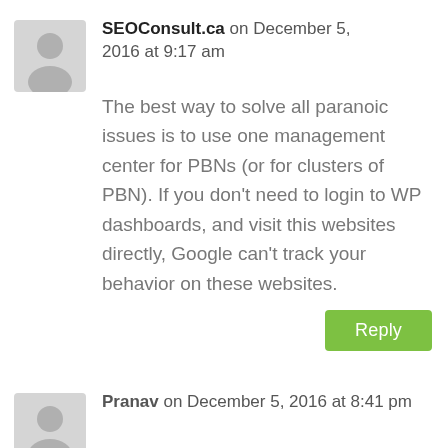SEOConsult.ca on December 5, 2016 at 9:17 am
The best way to solve all paranoic issues is to use one management center for PBNs (or for clusters of PBN). If you don't need to login to WP dashboards, and visit this websites directly, Google can't track your behavior on these websites.
Reply
Pranav on December 5, 2016 at 8:41 pm